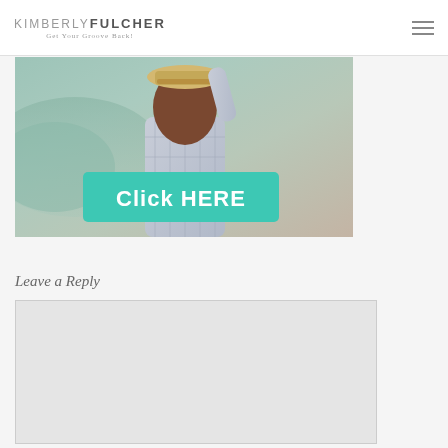KIMBERLY FULCHER — Get Your Groove Back!
[Figure (photo): Woman from behind wearing a straw hat with mountains in background, with a teal/green 'Click HERE' button overlay]
Leave a Reply
[Figure (screenshot): Comment input box area with light grey background]